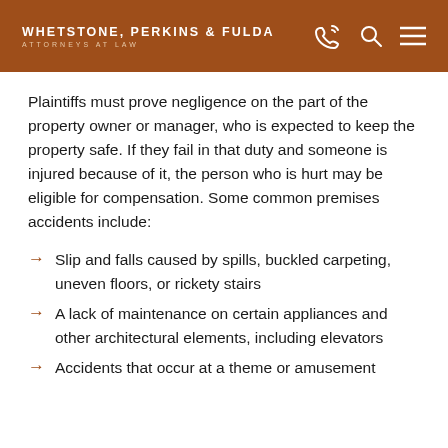WHETSTONE, PERKINS & FULDA ATTORNEYS AT LAW
Plaintiffs must prove negligence on the part of the property owner or manager, who is expected to keep the property safe. If they fail in that duty and someone is injured because of it, the person who is hurt may be eligible for compensation. Some common premises accidents include:
Slip and falls caused by spills, buckled carpeting, uneven floors, or rickety stairs
A lack of maintenance on certain appliances and other architectural elements, including elevators
Accidents that occur at a theme or amusement